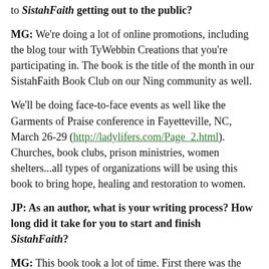to SistahFaith getting out to the public?
MG: We're doing a lot of online promotions, including the blog tour with TyWebbin Creations that you're participating in. The book is the title of the month in our SistahFaith Book Club on our Ning community as well.
We'll be doing face-to-face events as well like the Garments of Praise conference in Fayetteville, NC, March 26-29 (http://ladylifers.com/Page_2.html). Churches, book clubs, prison ministries, women shelters...all types of organizations will be using this book to bring hope, healing and restoration to women.
JP: As an author, what is your writing process? How long did it take for you to start and finish SistahFaith?
MG: This book took a lot of time. First there was the living all of what had to do to get to the place to be able to say that type of